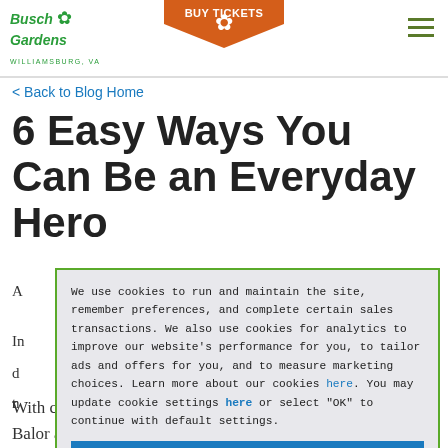Busch Gardens Williamsburg, VA | BUY TICKETS
< Back to Blog Home
6 Easy Ways You Can Be an Everyday Hero
A
In r d t n
We use cookies to run and maintain the site, remember preferences, and complete certain sales transactions. We also use cookies for analytics to improve our website's performance for you, to tailor ads and offers for you, and to measure marketing choices. Learn more about our cookies here. You may update cookie settings here or select "OK" to continue with default settings.
OK
With courage and determination, they stand up to the evil Balor and his army of Sluagh in an epic battle.